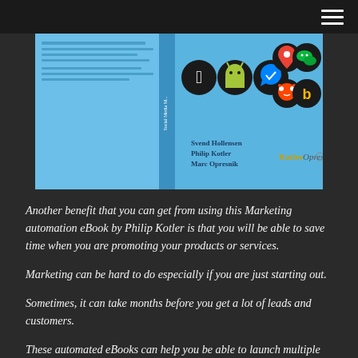[Figure (photo): Book cover of 'Social Media Marketing' by Svend Hollensen, Philip Kotler, and Marc Opresnik, featuring social media app icons (Apple, Android, Messenger, Maps, WeChat, Reddit, Bing) on a blue background.]
Another benefit that you can get from using this Marketing automation eBook by Philip Kotler is that you will be able to save time when you are promoting your products or services.
Marketing can be hard to do especially if you are just starting out.
Sometimes, it can take months before you get a lot of leads and customers.
These automated eBooks can help you be able to launch multiple campaigns quickly and easily.